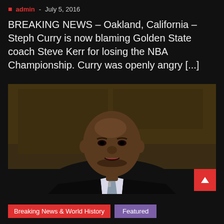admin - July 5, 2016
BREAKING NEWS – Oakland, California – Steph Curry is now blaming Golden State coach Steve Kerr for losing the NBA Championship. Curry was openly angry [...]
[Figure (photo): A bald Black man in a dark suit with a grey tie, photographed from the chest up, speaking or being interviewed, with a dark studio background]
Breaking News & World History
Featured